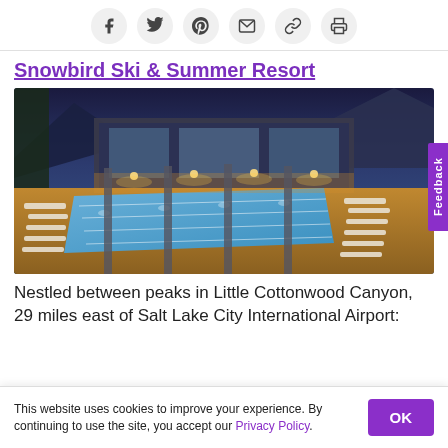Social sharing icons: Facebook, Twitter, Pinterest, Email, Link, Print
Snowbird Ski & Summer Resort
[Figure (photo): Aerial/elevated view of Snowbird Resort outdoor pool at dusk, surrounded by lounge chairs, with the resort building and mountain peaks in the background. Pool is illuminated with lights.]
Nestled between peaks in Little Cottonwood Canyon, 29 miles east of Salt Lake City International Airport:
This website uses cookies to improve your experience. By continuing to use the site, you accept our Privacy Policy.